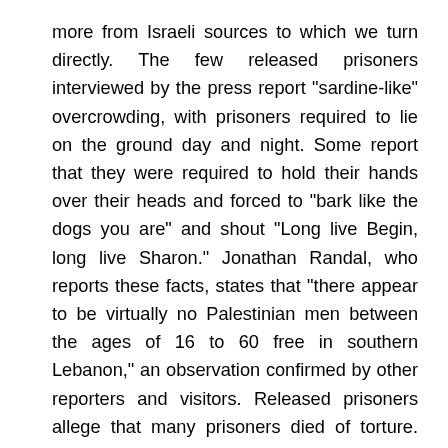more from Israeli sources to which we turn directly. The few released prisoners interviewed by the press report "sardine-like" overcrowding, with prisoners required to lie on the ground day and night. Some report that they were required to hold their hands over their heads and forced to "bark like the dogs you are" and shout "Long live Begin, long live Sharon." Jonathan Randal, who reports these facts, states that "there appear to be virtually no Palestinian men between the ages of 16 to 60 free in southern Lebanon," an observation confirmed by other reporters and visitors. Released prisoners allege that many prisoners died of torture. One, who was in Ansar for 155 days, reported in an interview with Liberation (Paris) that prisoners were laid "on special tables that have holds for legs and arms," then beaten with sticks and iron rods. He claims to have seen deaths as the result of torture. A London Times inquiry reported in Yediot Ahronot led to the discovery of7 young men apparently killed in an Israeli